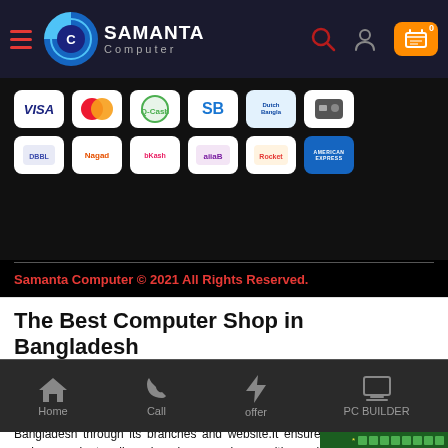Samanta Computer — navigation header with hamburger menu, logo, search, user, and cart icons
[Figure (screenshot): Payment method logos grid: VISA, Mastercard, QCash, SB, Dutch-Bangla, bKash, Nagad, Rocket, bKash alternate, American Express and others in two rows of white rounded cards on black background]
Samanta Computer © 2021 All Rights Reserved.
The Best Computer Shop in Bangladesh
If you are looking for the best computer shop in Bangladesh you must consider Samanta Computer, as it is a leading computer shop and e-commerce platform in Bangladesh selling computer Accessories and IT products all over Bangladesh through its branches and website.It ensures a fastest , secure, and convenient online shopping experience with a wide range of product offering in categories ranging from desktop PC, laptop to office equipment, Processor, RAM, camera, and smart devices
Home  Call  offer  PC BUILDER